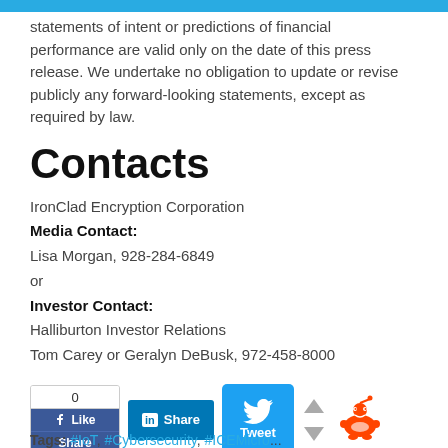statements of intent or predictions of financial performance are valid only on the date of this press release. We undertake no obligation to update or revise publicly any forward-looking statements, except as required by law.
Contacts
IronClad Encryption Corporation
Media Contact:
Lisa Morgan, 928-284-6849
or
Investor Contact:
Halliburton Investor Relations
Tom Carey or Geralyn DeBusk, 972-458-8000
[Figure (infographic): Social sharing buttons: Facebook Like/Share widget with count 0, LinkedIn Share button, Twitter Tweet button, up/down vote arrows, Reddit icon]
Tags: #IoT, #Cybersecurity, #ICEMicro...